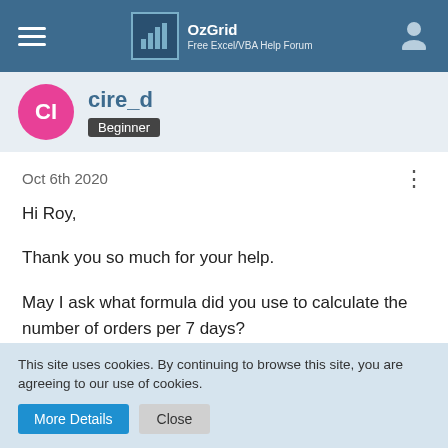OzGrid — Free Excel/VBA Help Forum
cire_d — Beginner
Oct 6th 2020
Hi Roy,

Thank you so much for your help.

May I ask what formula did you use to calculate the number of orders per 7 days?
This site uses cookies. By continuing to browse this site, you are agreeing to our use of cookies.